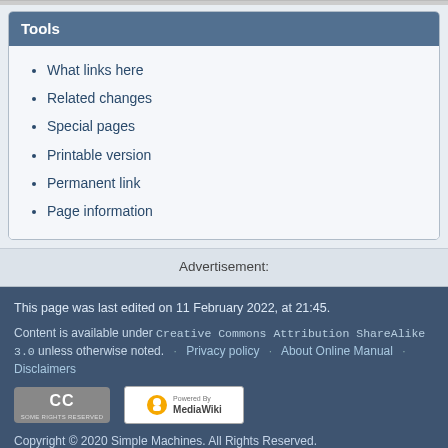Tools
What links here
Related changes
Special pages
Printable version
Permanent link
Page information
Advertisement:
This page was last edited on 11 February 2022, at 21:45. Content is available under Creative Commons Attribution ShareAlike 3.0 unless otherwise noted.   Privacy policy   About Online Manual   Disclaimers   Copyright © 2020 Simple Machines. All Rights Reserved.   Page created in 0.434   Page served by 10.0.100.134 (10.0.100.111)   seconds.